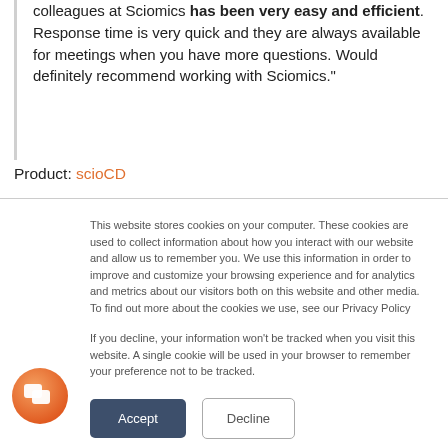colleagues at Sciomics has been very easy and efficient. Response time is very quick and they are always available for meetings when you have more questions. Would definitely recommend working with Sciomics."
Product: scioCD
This website stores cookies on your computer. These cookies are used to collect information about how you interact with our website and allow us to remember you. We use this information in order to improve and customize your browsing experience and for analytics and metrics about our visitors both on this website and other media. To find out more about the cookies we use, see our Privacy Policy
If you decline, your information won't be tracked when you visit this website. A single cookie will be used in your browser to remember your preference not to be tracked.